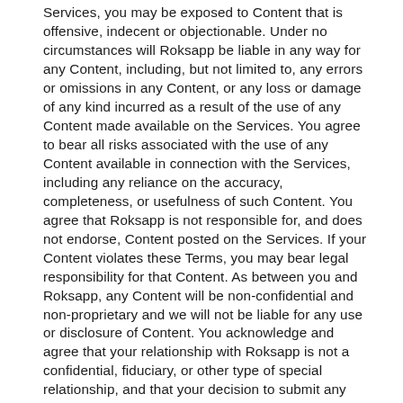Services, you may be exposed to Content that is offensive, indecent or objectionable. Under no circumstances will Roksapp be liable in any way for any Content, including, but not limited to, any errors or omissions in any Content, or any loss or damage of any kind incurred as a result of the use of any Content made available on the Services. You agree to bear all risks associated with the use of any Content available in connection with the Services, including any reliance on the accuracy, completeness, or usefulness of such Content. You agree that Roksapp is not responsible for, and does not endorse, Content posted on the Services. If your Content violates these Terms, you may bear legal responsibility for that Content. As between you and Roksapp, any Content will be non-confidential and non-proprietary and we will not be liable for any use or disclosure of Content. You acknowledge and agree that your relationship with Roksapp is not a confidential, fiduciary, or other type of special relationship, and that your decision to submit any Content does not place Roksapp in a position that is any different from the position held by members of the general public,